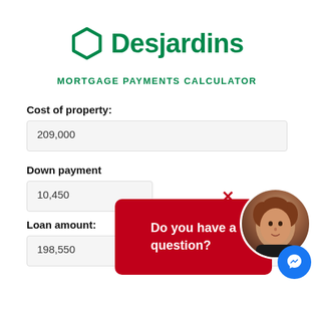[Figure (logo): Desjardins logo: green hexagon outline and green 'Desjardins' wordmark]
MORTGAGE PAYMENTS CALCULATOR
Cost of property:
209,000
Down payment
10,450
Loan amount:
198,550
[Figure (screenshot): Chat popup overlay with red bubble saying 'Do you have a question?', a close X button, a circular advisor photo, and a blue Messenger button]